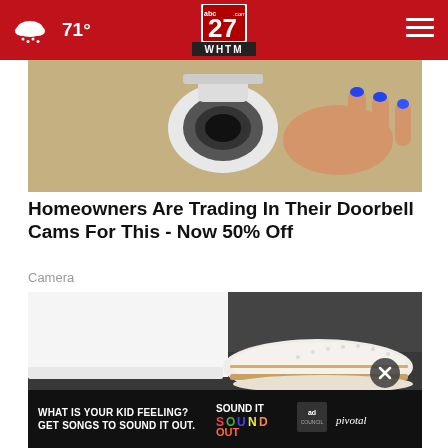71° — abc27 WHTM — Navigation
[Figure (photo): Close-up of a hand with blue painted nails holding a white security camera against a beige stucco wall]
Homeowners Are Trading In Their Doorbell Cams For This - Now 50% Off
Camera
[Figure (photo): Close-up of a person wearing white jeans and white perforated slip-on shoes with tan/gold trim on a dark pavement surface]
[Figure (other): Ad banner: WHAT IS YOUR KID FEELING? GET SONGS TO SOUND IT OUT. Sound It Out / Ad Council / Pivotal]